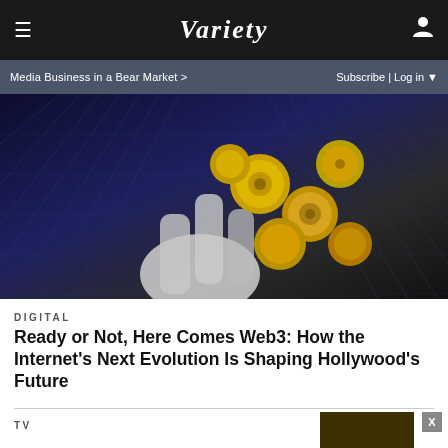VARIETY — Media Business in a Bear Market > | Subscribe | Log in
[Figure (photo): Robot hand holding golden coins/gears on a dark grid background]
DIGITAL
Ready or Not, Here Comes Web3: How the Internet's Next Evolution Is Shaping Hollywood's Future
TV
[Figure (photo): Advertisement for Killing Eve BBC America - The Final Obsession, Nominated for 2 Primetime Emmy Awards]